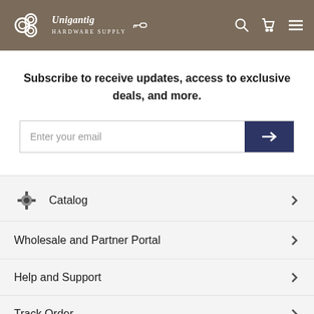Unigantig Hardware Supply – site header with logo, search, cart, and menu icons
Subscribe to receive updates, access to exclusive deals, and more.
Enter your email
Catalog
Wholesale and Partner Portal
Help and Support
Track Order